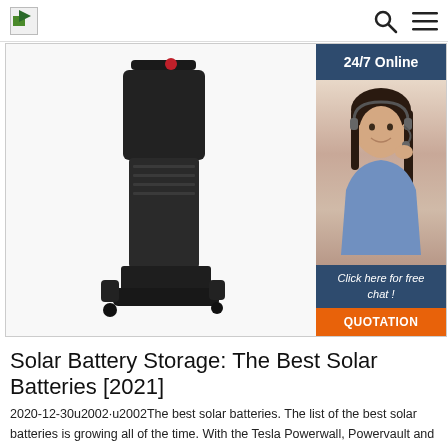[Logo] [Search icon] [Menu icon]
[Figure (photo): Product photo of a black solar battery storage unit (tall cylindrical device with mount/bracket) displayed against a white background. To the right is a sidebar advertisement showing '24/7 Online' header in dark blue, a photo of a smiling woman with a headset, text 'Click here for free chat!' in dark blue, and an orange 'QUOTATION' button.]
Solar Battery Storage: The Best Solar Batteries [2021]
2020-12-30u2002·u2002The best solar batteries. The list of the best solar batteries is growing all of the time. With the Tesla Powerwall, Powervault and Sonnen solar batteries often coming